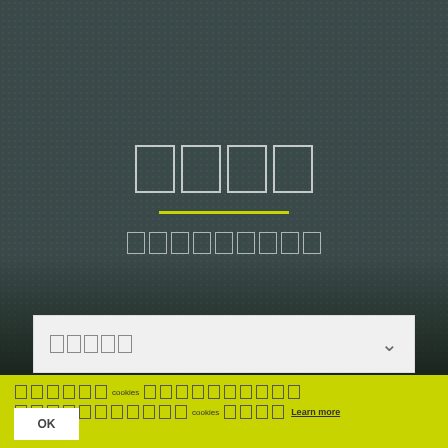[Figure (screenshot): Dark granular textured background image resembling a crowd or stadium scene, with a dotted pattern overlay. In the center, there are four outlined rectangular character placeholder boxes arranged horizontally, a yellow/lime horizontal divider line below them, and nine smaller outlined boxes beneath that forming a subtitle row.]
[dropdown with placeholder boxes and chevron arrow]
[cookie notice in Asian characters] cookies [Asian characters]. Learn more
OK